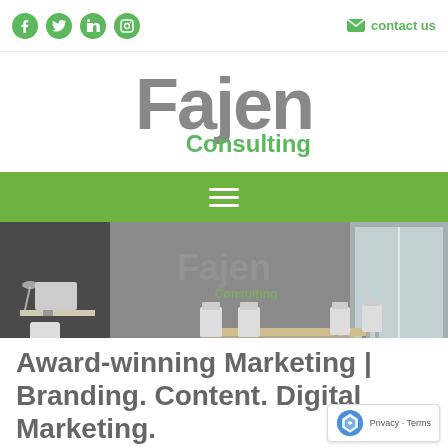Social icons: Facebook, Twitter, LinkedIn, Instagram | contact us
[Figure (logo): Fajen Consulting logo — 'Fajen' in large gray bold text, 'Consulting' in green below]
[Figure (other): Green navigation bar with white hamburger menu icon (three horizontal lines)]
[Figure (photo): Office interior photo showing a modern conference room with gray walls, Fajen Consulting logo on wall, white chairs around a wooden table, wood floor, large windows]
Award-winning Marketing | Branding. Content. Digital Marketing.
[Figure (other): reCAPTCHA privacy badge with Google reCAPTCHA logo, 'Privacy · Terms' text]